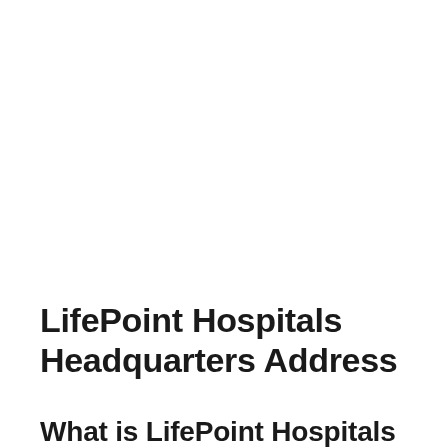LifePoint Hospitals Headquarters Address
What is LifePoint Hospitals